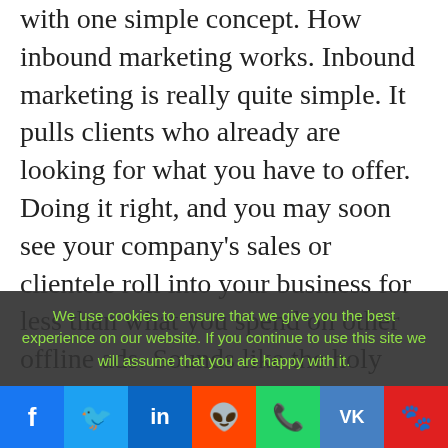with one simple concept. How inbound marketing works. Inbound marketing is really quite simple. It pulls clients who already are looking for what you have to offer. Doing it right, and you may soon see your company's sales or clientele roll into your business for less than what you spend on other offline ads. Sounds like the holy grail, right? But unfortunately, it does not happen overnight.

Like all marketing methods, inbound marketing
We use cookies to ensure that we give you the best experience on our website. If you continue to use this site we will assume that you are happy with it.
[Figure (infographic): Social sharing bar with icons for Facebook, Twitter, LinkedIn, Reddit, WhatsApp, VK, and Baidu]